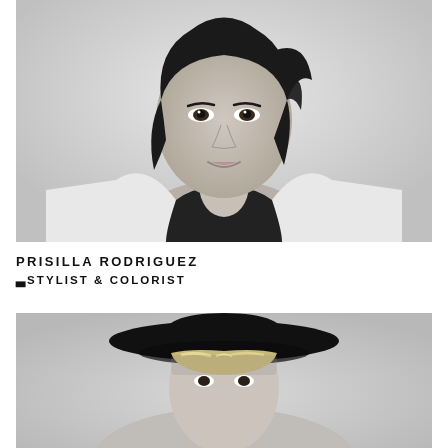[Figure (photo): Black and white portrait photo of Prisilla Rodriguez, a woman with dark shoulder-length hair wearing a white blazer over a black top, smiling slightly against a light background.]
PRISILLA RODRIGUEZ
STYLIST & COLORIST
[Figure (photo): Black and white portrait photo of a person wearing a wide-brim black hat, looking slightly downward, with light streaked hair visible under the hat.]